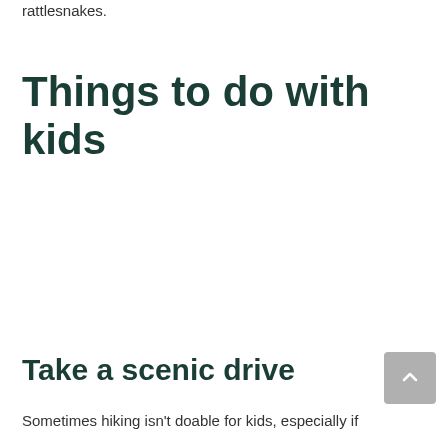rattlesnakes.
Things to do with kids
Take a scenic drive
Sometimes hiking isn't doable for kids, especially if